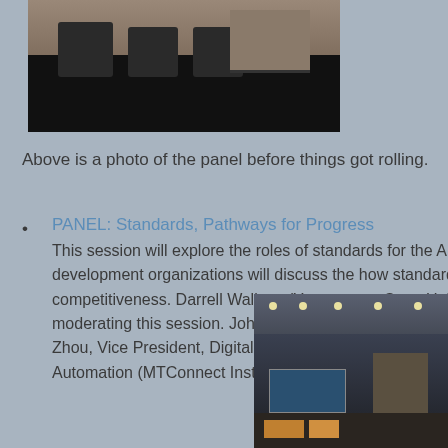[Figure (photo): Photo of a panel stage setup before the event, with chairs arranged on a stage draped in black fabric, empty before panelists arrived.]
Above is a photo of the panel before things got rolling.
PANEL: Standards, Pathways for Progress
This session will explore the roles of standards for the AM... development organizations will discuss the how standards... competitiveness. Darrell Wallace (Youngstown State Univ... moderating this session. John Slotwinski (ASTM) | Jennif... Zhou, Vice President, Digital Manufacturing Technologies... Automation (MTConnect Institute) | Kevin Jurrens, Mecha...
[Figure (photo): Photo of an exhibition hall or conference floor with industrial lighting, display screens showing manufacturing software, and attendees visible in the background.]